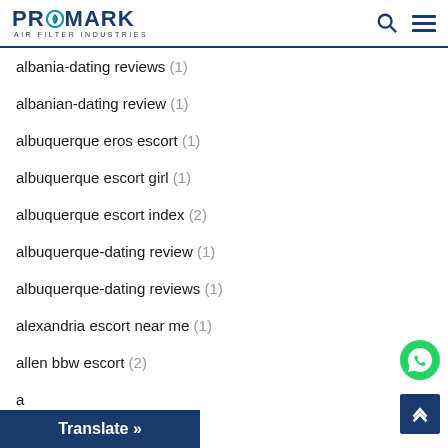PROMARK AIR FILTER INDUSTRIES
albania-dating reviews (1)
albanian-dating review (1)
albuquerque eros escort (1)
albuquerque escort girl (1)
albuquerque escort index (2)
albuquerque-dating review (1)
albuquerque-dating reviews (1)
alexandria escort near me (1)
allen bbw escort (2)
a... (1)